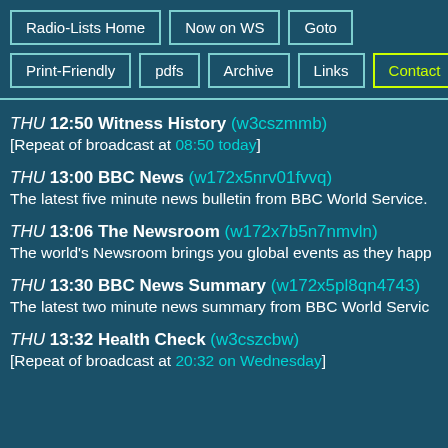Radio-Lists Home
Now on WS
Goto
Print-Friendly
pdfs
Archive
Links
Contact
THU 12:50 Witness History (w3cszmmb)
[Repeat of broadcast at 08:50 today]
THU 13:00 BBC News (w172x5nrv01fvvq)
The latest five minute news bulletin from BBC World Service.
THU 13:06 The Newsroom (w172x7b5n7nmvln)
The world's Newsroom brings you global events as they happ
THU 13:30 BBC News Summary (w172x5pl8qn4743)
The latest two minute news summary from BBC World Servic
THU 13:32 Health Check (w3cszcbw)
[Repeat of broadcast at 20:32 on Wednesday]